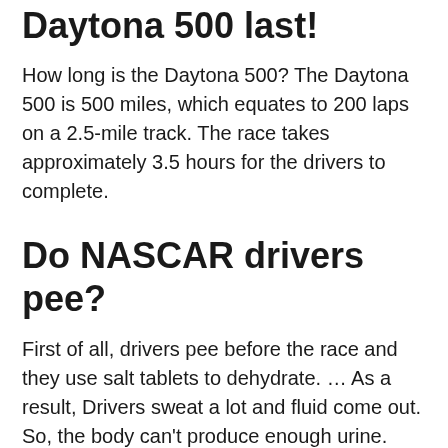Daytona 500 last!
How long is the Daytona 500? The Daytona 500 is 500 miles, which equates to 200 laps on a 2.5-mile track. The race takes approximately 3.5 hours for the drivers to complete.
Do NASCAR drivers pee?
First of all, drivers pee before the race and they use salt tablets to dehydrate. … As a result, Drivers sweat a lot and fluid come out. So, the body can't produce enough urine. The answers to that question are, NASCAR drivers don't need to pee during the race.